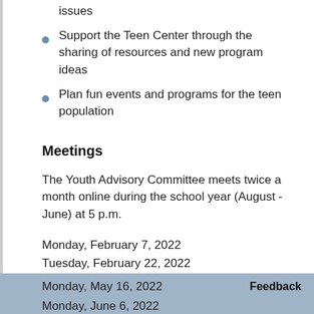issues
Support the Teen Center through the sharing of resources and new program ideas
Plan fun events and programs for the teen population
Meetings
The Youth Advisory Committee meets twice a month online during the school year (August - June) at 5 p.m.
Monday, February 7, 2022
Tuesday, February 22, 2022
Monday, March 7, 2022
Monday, March 21, 2022
Monday, April 4, 2022
Monday, April 18, 2022
Monday, May 2, 2022
Monday, May 16, 2022
Monday, June 6, 2022